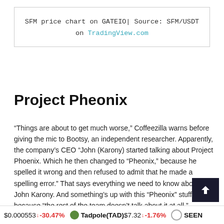SFM price chart on GATEIO| Source: SFM/USDT on TradingView.com
Project Pheonix
“Things are about to get much worse,” Coffeezilla warns before giving the mic to Bootsy, an independent researcher. Apparently, the company’s CEO “John (Karony) started talking about Project Phoenix. Which he then changed to “Pheonix,” because he spelled it wrong and then refused to admit that he made a spelling error.” That says everything we need to know about John Karony. And something’s up with this “Pheonix” stuff, because “the rest of the team doesn’t talk about it at all.”
In a video, John Karony tries to explain Project Pheonix and gives the interviewer the worst word salad ever uttered.
$0.000553 ↓ -30.47% Tadpole(TAD) $7.32 ↓ -1.76% SEEN